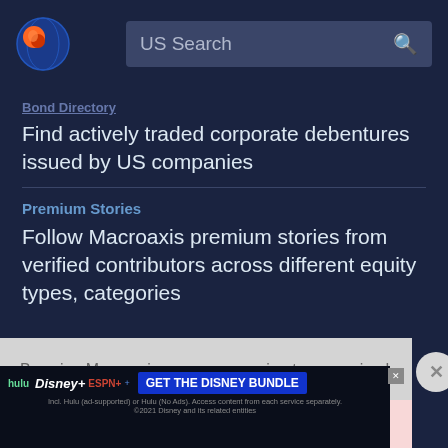[Figure (logo): Macroaxis globe logo, orange and blue circular icon]
US Search
Bond Directory
Find actively traded corporate debentures issued by US companies
Premium Stories
Follow Macroaxis premium stories from verified contributors across different equity types, categories
By using Macroaxis, you are agreeing to our revised Privacy Policy
OK
[Figure (screenshot): Disney Bundle advertisement banner: hulu Disney+ ESPN+ GET THE DISNEY BUNDLE. Incl. Hulu (ad-supported) or Hulu (No Ads). Access content from each service separately. ©2021 Disney and its related entities]